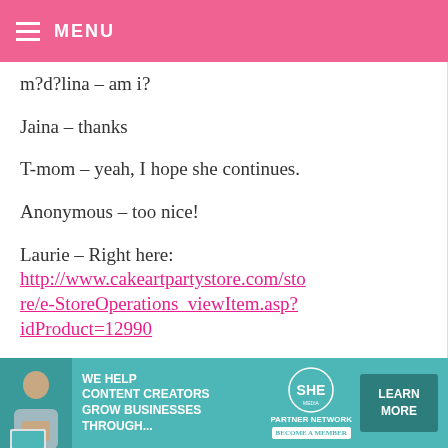MENU
m?d?lina – am i?
Jaina – thanks
T-mom – yeah, I hope she continues.
Anonymous – too nice!
Laurie – Right here: http://www.cakeartpartystore.com/store/e-StoreOperations_viewItem.asp?idProduct=12990
Katie – nope
sara –
[Figure (infographic): Advertisement banner: We help content creators grow businesses through... SHE Partner Network. Learn More button.]